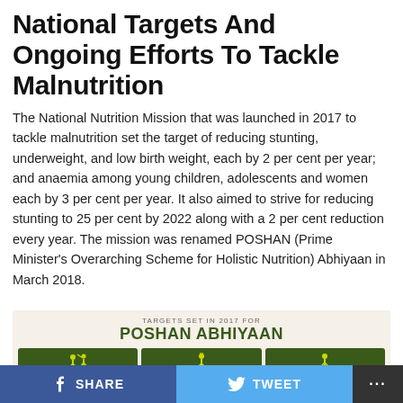National Targets And Ongoing Efforts To Tackle Malnutrition
The National Nutrition Mission that was launched in 2017 to tackle malnutrition set the target of reducing stunting, underweight, and low birth weight, each by 2 per cent per year; and anaemia among young children, adolescents and women each by 3 per cent per year. It also aimed to strive for reducing stunting to 25 per cent by 2022 along with a 2 per cent reduction every year. The mission was renamed POSHAN (Prime Minister's Overarching Scheme for Holistic Nutrition) Abhiyaan in March 2018.
[Figure (infographic): Infographic showing Targets Set in 2017 for POSHAN ABHIYAAN with three green cards: Stunting Of Children (Reduce by 6% in 3 years), Stunting Of Children (Reduce to 25% by 2022), Underweight Prevalence In Children (Reduce by 6% in 3 years)]
SHARE   TWEET   ...